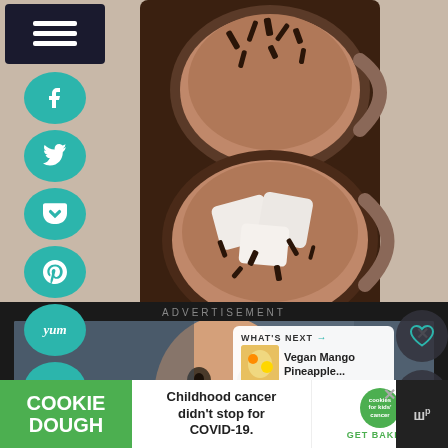[Figure (photo): Overhead view of two mugs of hot chocolate with marshmallows and chocolate shavings on a dark wooden tray]
[Figure (screenshot): Social media sharing sidebar with dark menu button and teal circular buttons for Facebook, Twitter, Pocket, Pinterest, Yummly, and Email]
ADVERTISEMENT
[Figure (photo): Advertisement showing a young Asian boy looking at camera, eating something with fingers]
WHAT'S NEXT → Vegan Mango Pineapple...
[Figure (logo): Cookie Dough banner ad: COOKIE DOUGH - Childhood cancer didn't stop for COVID-19. - cookies for kids cancer GET BAKING]
Childhood cancer didn't stop for COVID-19.